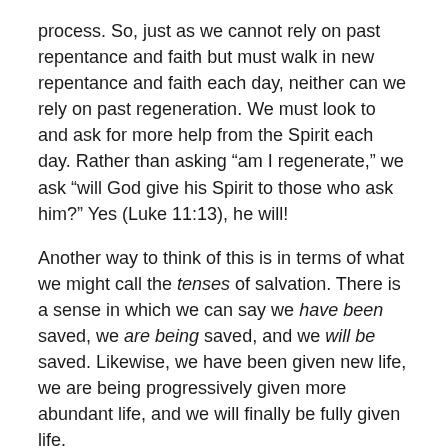process. So, just as we cannot rely on past repentance and faith but must walk in new repentance and faith each day, neither can we rely on past regeneration. We must look to and ask for more help from the Spirit each day. Rather than asking “am I regenerate,” we ask “will God give his Spirit to those who ask him?” Yes (Luke 11:13), he will!
Another way to think of this is in terms of what we might call the tenses of salvation. There is a sense in which we can say we have been saved, we are being saved, and we will be saved. Likewise, we have been given new life, we are being progressively given more abundant life, and we will finally be fully given life.
Calvin speaks of regeneration as occurring progressively. In the Institutes, he refers to it as something “which [God]